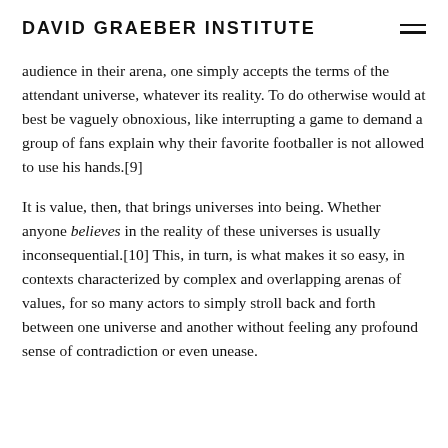DAVID GRAEBER INSTITUTE
audience in their arena, one simply accepts the terms of the attendant universe, whatever its reality. To do otherwise would at best be vaguely obnoxious, like interrupting a game to demand a group of fans explain why their favorite footballer is not allowed to use his hands.[9]
It is value, then, that brings universes into being. Whether anyone believes in the reality of these universes is usually inconsequential.[10] This, in turn, is what makes it so easy, in contexts characterized by complex and overlapping arenas of values, for so many actors to simply stroll back and forth between one universe and another without feeling any profound sense of contradiction or even unease.